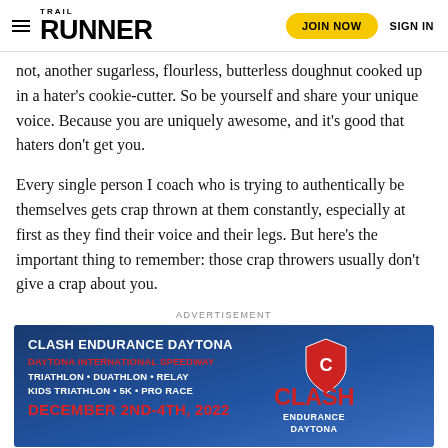TRAIL RUNNER — JOIN NOW   SIGN IN
not, another sugarless, flourless, butterless doughnut cooked up in a hater's cookie-cutter. So be yourself and share your unique voice. Because you are uniquely awesome, and it's good that haters don't get you.
Every single person I coach who is trying to authentically be themselves gets crap thrown at them constantly, especially at first as they find their voice and their legs. But here's the important thing to remember: those crap throwers usually don't give a crap about you.
ADVERTISEMENT
[Figure (illustration): Clash Endurance Daytona advertisement banner. Blue gradient background. Left side text: CLASH ENDURANCE DAYTONA, DAYTONA INTERNATIONAL SPEEDWAY, TRIATHLON • DUATHLON • RELAY, KIDS TRIATHLON • 5K • PRO RACE, DECEMBER 2ND-4TH, 2022. Right side: CLASH ENDURANCE DAYTONA logo with shield icon.]